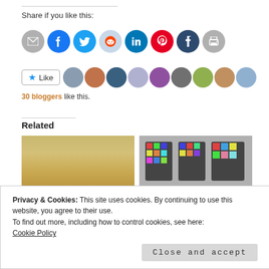Share if you like this:
[Figure (infographic): Row of social media sharing icons: email, Facebook, Twitter, Reddit, LinkedIn, Pinterest, Tumblr, Print]
[Figure (infographic): Like button with star icon followed by a row of blogger avatar thumbnails]
30 bloggers like this.
Related
[Figure (photo): Aerial view of a desert city/settlement with sandy tan tones]
[Figure (photo): Colorful stained glass windows in arched frames]
Privacy & Cookies: This site uses cookies. By continuing to use this website, you agree to their use.
To find out more, including how to control cookies, see here:
Cookie Policy
Close and accept